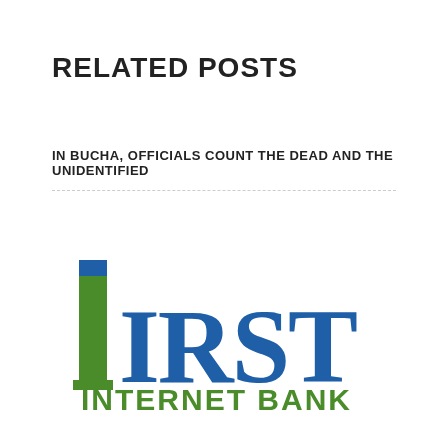RELATED POSTS
IN BUCHA, OFFICIALS COUNT THE DEAD AND THE UNIDENTIFIED
[Figure (logo): First Internet Bank logo: a large green stylized number '1' with a blue top, followed by the word 'FIRST' in large blue serif letters, and below it 'INTERNET BANK' in green bold capital letters.]